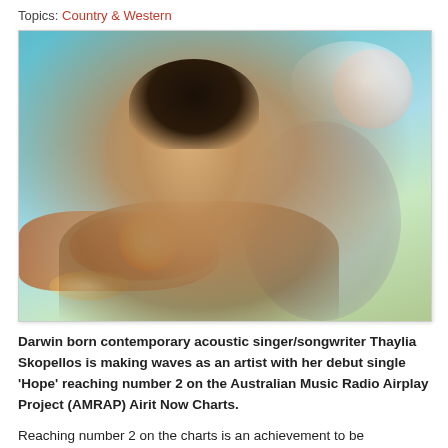Topics: Country & Western
[Figure (photo): Promotional photo of Thaylia Skopellos, a smiling woman with short dark hair, set against a composite background of teal sky, dramatic sunset clouds in orange and red, a glowing moon/planet, and warm light effects.]
Darwin born contemporary acoustic singer/songwriter Thaylia Skopellos is making waves as an artist with her debut single 'Hope' reaching number 2 on the Australian Music Radio Airplay Project (AMRAP) Airit Now Charts.
Reaching number 2 on the charts is an achievement to be